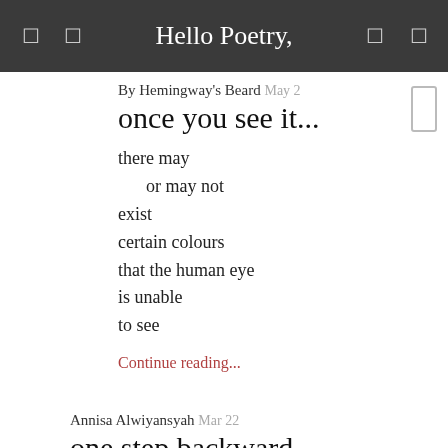Hello Poetry,
By Hemingway's Beard  May 2
once you see it...
there may
   or may not
exist
certain colours
that the human eye
is unable
to see
Continue reading...
Annisa Alwiyansyah  Mar 22
one step backward
among the skyscrapers my mind wander